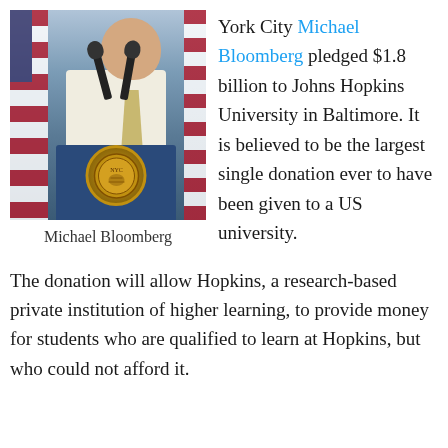[Figure (photo): Photo of Michael Bloomberg speaking at a podium with microphones and an American flag in the background. The New York City seal is visible on the podium.]
Michael Bloomberg
York City Michael Bloomberg pledged $1.8 billion to Johns Hopkins University in Baltimore. It is believed to be the largest single donation ever to have been given to a US university.
The donation will allow Hopkins, a research-based private institution of higher learning, to provide money for students who are qualified to learn at Hopkins, but who could not afford it.